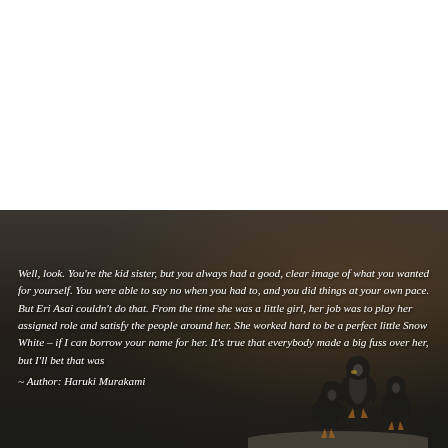[Figure (illustration): Dark photographic background showing penguins silhouetted on a snowy/rocky terrain with dim brownish-orange highlights on the right side. The lower portion of the page features this dark image overlaid with a quote in white italic serif text.]
Well, look. You're the kid sister, but you always had a good, clear image of what you wanted for yourself. You were able to say no when you had to, and you did things at your own pace. But Eri Asai couldn't do that. From the time she was a little girl, her job was to play her assigned role and satisfy the people around her. She worked hard to be a perfect little Snow White – if I can borrow your name for her. It's true that everybody made a big fuss over her, but I'll bet that was
~ Author: Haruki Murakami